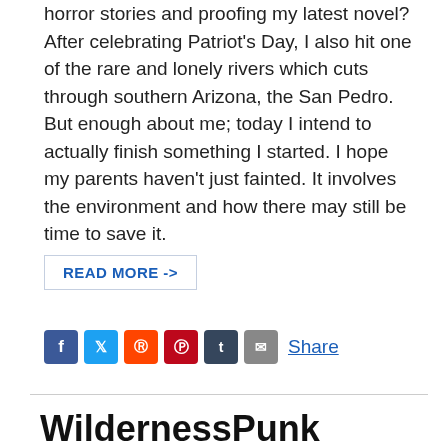horror stories and proofing my latest novel? After celebrating Patriot's Day, I also hit one of the rare and lonely rivers which cuts through southern Arizona, the San Pedro. But enough about me; today I intend to actually finish something I started. I hope my parents haven't just fainted. It involves the environment and how there may still be time to save it.
READ MORE ->
[Figure (infographic): Social share icons: Facebook (blue), Twitter (blue), Reddit (orange-red), Pinterest (red), Tumblr (dark blue), Email (gray), followed by a Share link]
WildernessPunk Solves The Immigration Issue
by Alex Bone • March 1, 2019